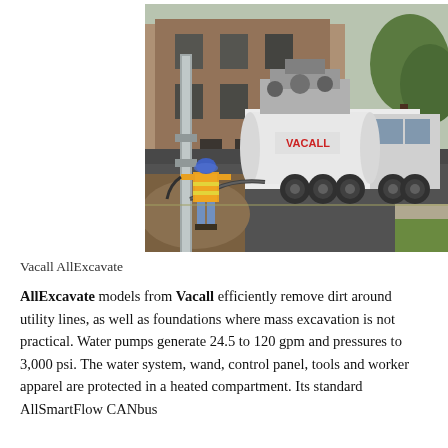[Figure (photo): A worker in a high-visibility orange vest and blue hard hat uses a hose connected to a large white Vacall AllExcavate vacuum excavation truck parked on a street. The truck has multiple axles and a large tank with 'VACALL' written on it in red. The setting is a residential/commercial area with a brick building visible in the background and grass on the right side.]
Vacall AllExcavate
AllExcavate models from Vacall efficiently remove dirt around utility lines, as well as foundations where mass excavation is not practical. Water pumps generate 24.5 to 120 gpm and pressures to 3,000 psi. The water system, wand, control panel, tools and worker apparel are protected in a heated compartment. Its standard AllSmartFlow CANbus